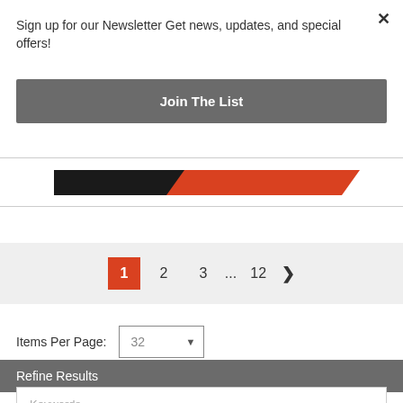Sign up for our Newsletter Get news, updates, and special offers!
Join The List
[Figure (other): Decorative stripe banner with black and red diagonal stripes]
1  2  3  …  12  ›
Items Per Page:  32
Refine Results
Keywords